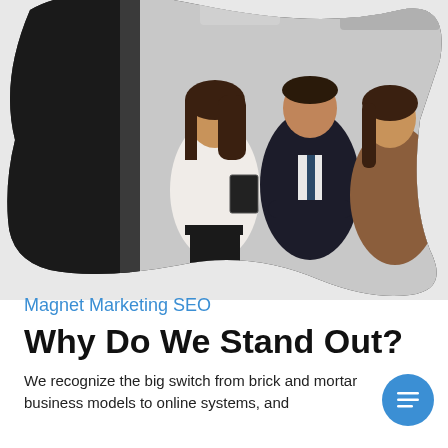[Figure (photo): Three business professionals in a hallway: a woman in white blouse holding a tablet, a man in dark suit with arms crossed, and a woman in brown jacket; image is clipped in an organic blob shape.]
Magnet Marketing SEO
Why Do We Stand Out?
We recognize the big switch from brick and mortar business models to online systems, and